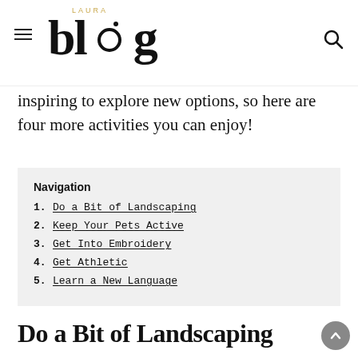Laura Blog (navigation header with hamburger menu and search icon)
inspiring to explore new options, so here are four more activities you can enjoy!
Navigation
1. Do a Bit of Landscaping
2. Keep Your Pets Active
3. Get Into Embroidery
4. Get Athletic
5. Learn a New Language
Do a Bit of Landscaping